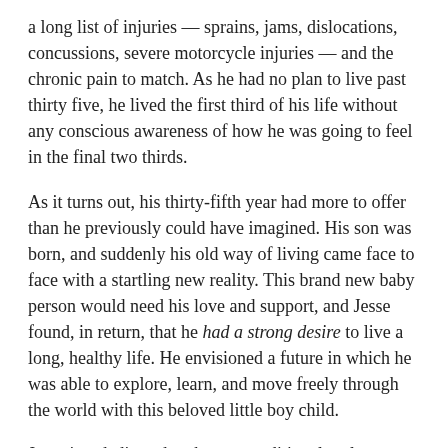a long list of injuries — sprains, jams, dislocations, concussions, severe motorcycle injuries — and the chronic pain to match. As he had no plan to live past thirty five, he lived the first third of his life without any conscious awareness of how he was going to feel in the final two thirds.
As it turns out, his thirty-fifth year had more to offer than he previously could have imagined. His son was born, and suddenly his old way of living came face to face with a startling new reality. This brand new baby person would need his love and support, and Jesse found, in return, that he had a strong desire to live a long, healthy life. He envisioned a future in which he was able to explore, learn, and move freely through the world with this beloved little boy child.
Jesse is a dedicated — but nontraditional — learner. He